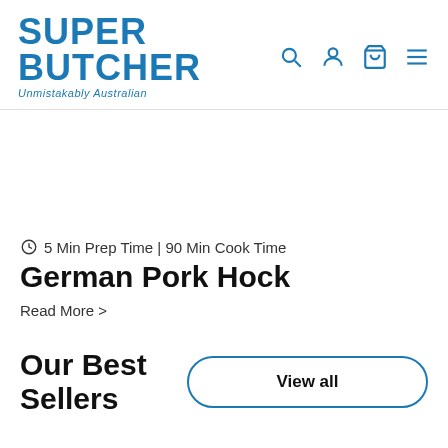SUPER BUTCHER — Unmistakably Australian
[Figure (other): Empty white banner/image area]
🕐 5 Min Prep Time | 90 Min Cook Time
German Pork Hock
Read More >
Our Best Sellers
View all